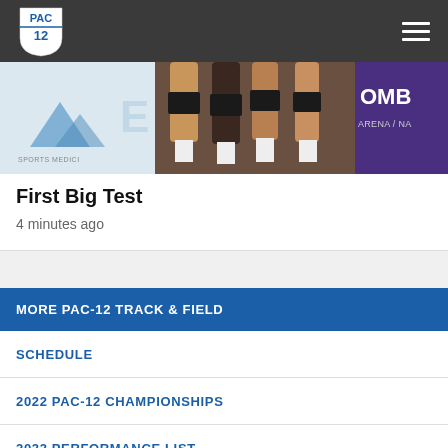PAC-12
[Figure (photo): Volleyball players' legs at courtside near a sports medicine banner and an arena sign reading 'BSCOMB ARENA / NA']
First Big Test
4 minutes ago
MORE PAC-12 TRACK & FIELD
SCHEDULE
2022 PAC-12 CHAMPIONSHIPS
2022 PERFORMANCE LIST
ALL-TIME TOP-10 LIST